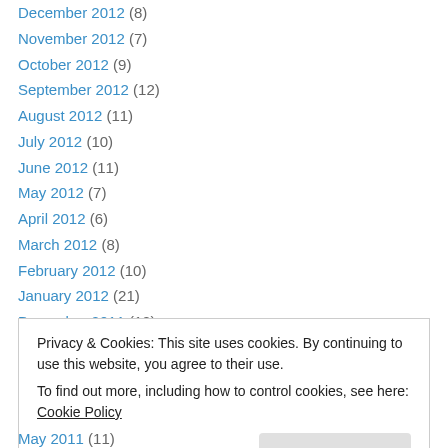December 2012 (8)
November 2012 (7)
October 2012 (9)
September 2012 (12)
August 2012 (11)
July 2012 (10)
June 2012 (11)
May 2012 (7)
April 2012 (6)
March 2012 (8)
February 2012 (10)
January 2012 (21)
December 2011 (12)
Privacy & Cookies: This site uses cookies. By continuing to use this website, you agree to their use. To find out more, including how to control cookies, see here: Cookie Policy
May 2011 (11)